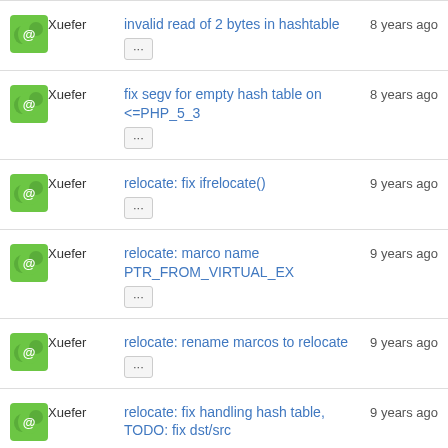Xuefer — invalid read of 2 bytes in hashtable — 8 years ago
Xuefer — fix segv for empty hash table on <=PHP_5_3 — 8 years ago
Xuefer — relocate: fix ifrelocate() — 9 years ago
Xuefer — relocate: marco name PTR_FROM_VIRTUAL_EX — 9 years ago
Xuefer — relocate: rename marcos to relocate — 9 years ago
Xuefer — relocate: fix handling hash table, TODO: fix dst/src... — 9 years ago